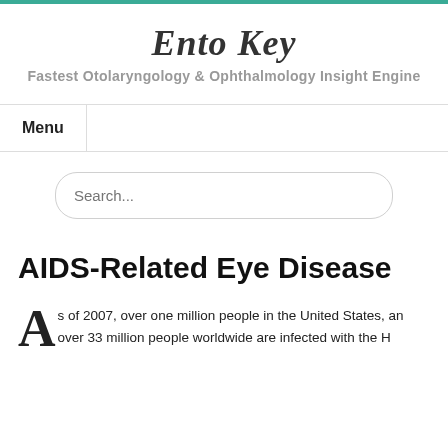Ento Key
Fastest Otolaryngology & Ophthalmology Insight Engine
Menu
AIDS-Related Eye Disease
As of 2007, over one million people in the United States, and over 33 million people worldwide are infected with the H...